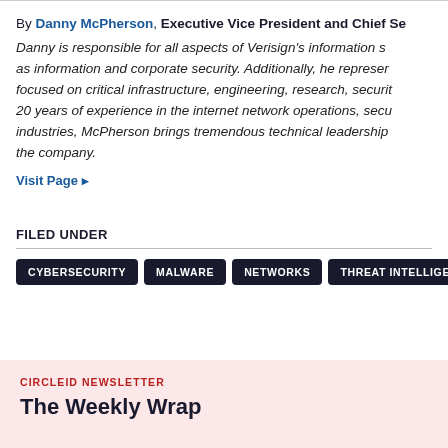By Danny McPherson, Executive Vice President and Chief Se...
Danny is responsible for all aspects of Verisign's information s... as information and corporate security. Additionally, he represer... focused on critical infrastructure, engineering, research, securit... 20 years of experience in the internet network operations, secu... industries, McPherson brings tremendous technical leadership... the company.
Visit Page ▸
FILED UNDER
CYBERSECURITY
MALWARE
NETWORKS
THREAT INTELLIGEN...
CIRCLEID NEWSLETTER
The Weekly Wrap